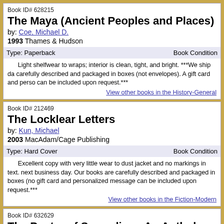Book ID# 628215
The Maya (Ancient Peoples and Places)
by: Coe, Michael D.
1993 Thames & Hudson
Type: Paperback   Book Condition
Light shelfwear to wraps; interior is clean, tight, and bright. ***We ship da carefully described and packaged in boxes (not envelopes). A gift card and perso can be included upon request.***
View other books in the History-General
Book ID# 212469
The Locklear Letters
by: Kun, Michael
2003 MacAdam/Cage Publishing
Type: Hard Cover   Book Condition
Excellent copy with very little wear to dust jacket and no markings in text. next business day. Our books are carefully described and packaged in boxes (no gift card and personalized message can be included upon request.***
View other books in the Fiction-Modern
Book ID# 632629
The Poetry of Surrealism: An Anthology
by: Benediikt, Michael
1975 Little Brown & Co